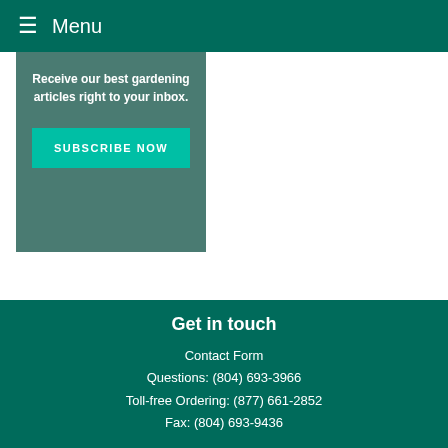≡ Menu
Receive our best gardening articles right to your inbox.
SUBSCRIBE NOW
Get in touch
Contact Form
Questions: (804) 693-3966
Toll-free Ordering: (877) 661-2852
Fax: (804) 693-9436